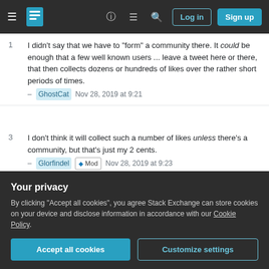Stack Exchange navigation bar with Log in and Sign up buttons
1 — I didn't say that we have to "form" a community there. It could be enough that a few well known users ... leave a tweet here or there, that then collects dozens or hundreds of likes over the rather short periods of times. – GhostCat Nov 28, 2019 at 9:21
3 — I don't think it will collect such a number of likes unless there's a community, but that's just my 2 cents. – Glorfindel ◆ Mod Nov 28, 2019 at 9:23
1 — Well, when links to Twitter/facebook show up here, and just 10% of the community click those, and leave a like here or there ... that alone would look different. – GhostCat Nov 28, 2019 at 9:59
Your privacy — By clicking "Accept all cookies", you agree Stack Exchange can store cookies on your device and disclose information in accordance with our Cookie Policy.